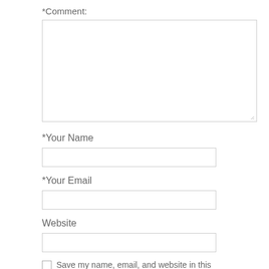*Comment:
[Figure (other): Empty textarea input box for comment field with resize handle in bottom-right corner]
*Your Name
[Figure (other): Empty single-line text input box for Your Name field]
*Your Email
[Figure (other): Empty single-line text input box for Your Email field]
Website
[Figure (other): Empty single-line text input box for Website field]
Save my name, email, and website in this browser for the next time I comment.